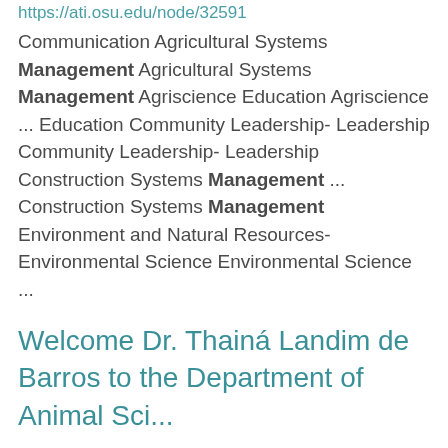https://ati.osu.edu/node/32591
Communication Agricultural Systems Management Agricultural Systems Management Agriscience Education Agriscience ... Education Community Leadership- Leadership Community Leadership- Leadership Construction Systems Management ... Construction Systems Management Environment and Natural Resources- Environmental Science Environmental Science ...
Welcome Dr. Thainá Landim de Barros to the Department of Animal Sci...